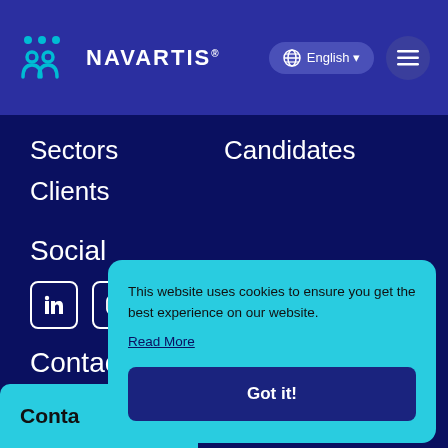[Figure (logo): Navartis company logo with three dots above two figure shapes in teal/cyan, followed by NAVARTIS text in white]
English
Sectors
Candidates
Clients
Social
[Figure (other): LinkedIn, Instagram, and partial third social media icons in white outline style]
Contact
This website uses cookies to ensure you get the best experience on our website.
Read More
Got it!
Conta